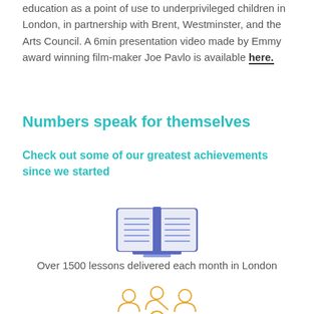education as a point of use to underprivileged children in London, in partnership with Brent, Westminster, and the Arts Council. A 6min presentation video made by Emmy award winning film-maker Joe Pavlo is available here.
Numbers speak for themselves
Check out some of our greatest achievements since we started
[Figure (illustration): Blue icon of an open book with lined pages]
Over 1500 lessons delivered each month in London
[Figure (illustration): Orange icon of a group of people]